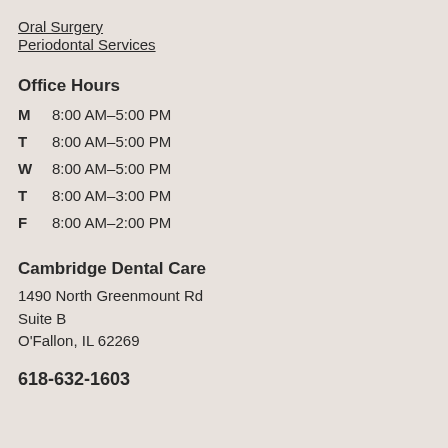Oral Surgery
Periodontal Services
Office Hours
M  8:00 AM–5:00 PM
T  8:00 AM–5:00 PM
W  8:00 AM–5:00 PM
T  8:00 AM–3:00 PM
F  8:00 AM–2:00 PM
Cambridge Dental Care
1490 North Greenmount Rd
Suite B
O'Fallon, IL 62269
618-632-1603